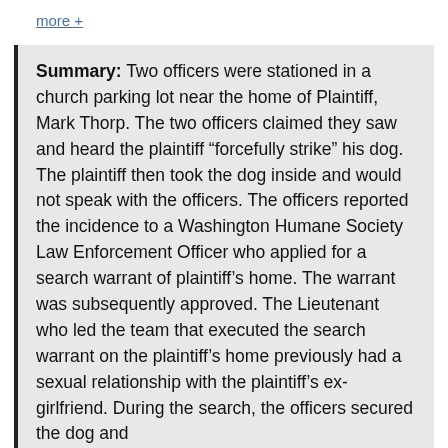more +
Summary: Two officers were stationed in a church parking lot near the home of Plaintiff, Mark Thorp. The two officers claimed they saw and heard the plaintiff “forcefully strike” his dog. The plaintiff then took the dog inside and would not speak with the officers. The officers reported the incidence to a Washington Humane Society Law Enforcement Officer who applied for a search warrant of plaintiff’s home. The warrant was subsequently approved. The Lieutenant who led the team that executed the search warrant on the plaintiff’s home previously had a sexual relationship with the plaintiff’s ex-girlfriend. During the search, the officers secured the dog and